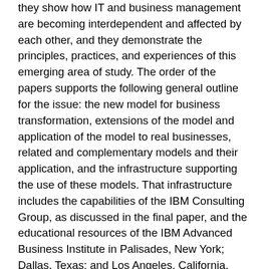they show how IT and business management are becoming interdependent and affected by each other, and they demonstrate the principles, practices, and experiences of this emerging area of study. The order of the papers supports the following general outline for the issue: the new model for business transformation, extensions of the model and application of the model to real businesses, related and complementary models and their application, and the infrastructure supporting the use of these models. That infrastructure includes the capabilities of the IBM Consulting Group, as discussed in the final paper, and the educational resources of the IBM Advanced Business Institute in Palisades, New York; Dallas, Texas; and Los Angeles, California. [Hoffnagle 1993, p. 2]
The resources invested into consulting skills were significant. Every consultant received three weeks of